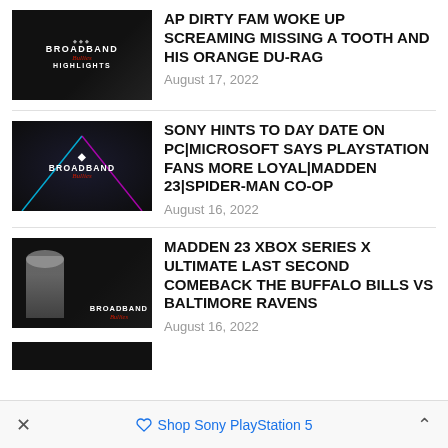[Figure (screenshot): Thumbnail image with 'Broadband Bullies Highlights' logo on dark background]
AP DIRTY FAM WOKE UP SCREAMING MISSING A TOOTH AND HIS ORANGE DU-RAG
August 17, 2022
[Figure (screenshot): Thumbnail image with Broadband Bullies logo, neon laser lines on dark background]
SONY HINTS TO DAY DATE ON PC|MICROSOFT SAYS PLAYSTATION FANS MORE LOYAL|MADDEN 23|SPIDER-MAN CO-OP
August 16, 2022
[Figure (screenshot): Thumbnail image with person and Broadband Bullies logo on dark background]
MADDEN 23 XBOX SERIES X ULTIMATE LAST SECOND COMEBACK THE BUFFALO BILLS VS BALTIMORE RAVENS
August 16, 2022
Shop Sony PlayStation 5